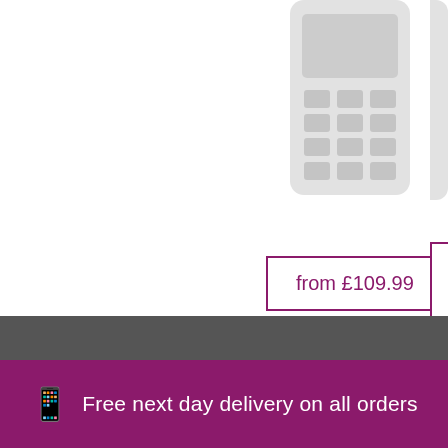[Figure (photo): Nokia 7 Plus smartphone product image, partially visible at top of page, showing phone with keypad/screen on light grey background]
from £109.99
Nokia 7 Plus
[Figure (illustration): Color selection circles: black filled circle and white outlined circle for Nokia 7 Plus color options]
[Figure (illustration): Partial view of another product listing on right side, cropped at page edge]
Free next day delivery on all orders